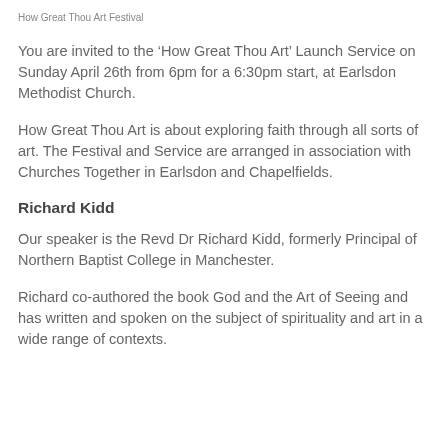How Great Thou Art Festival
You are invited to the ‘How Great Thou Art’ Launch Service on Sunday April 26th from 6pm for a 6:30pm start, at Earlsdon Methodist Church.
How Great Thou Art is about exploring faith through all sorts of art. The Festival and Service are arranged in association with Churches Together in Earlsdon and Chapelfields.
Richard Kidd
Our speaker is the Revd Dr Richard Kidd, formerly Principal of Northern Baptist College in Manchester.
Richard co-authored the book God and the Art of Seeing and has written and spoken on the subject of spirituality and art in a wide range of contexts.